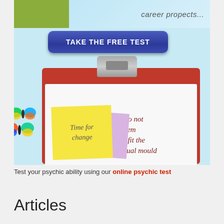[Figure (illustration): Promotional illustration showing a person in a yellow-green sweater at the top left, with text 'career propects...' in grey italic on a light blue background. A dark blue rounded rectangle button reads 'TAKE THE FREE TEST' in bold white uppercase text. Below is a red clipboard with a white paper sheet, a yellow sticky note saying 'Time for change' and a purple note behind it. On the white paper is handwritten-style text reading 'I do not seem to fit the usual mould'. Two colorful butterflies appear at the lower left.]
Test your psychic ability using our online psychic test
Articles